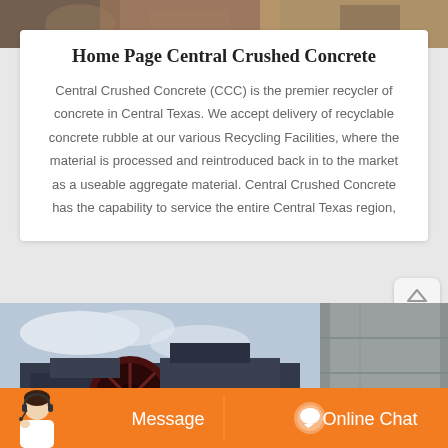[Figure (photo): Top strip photo of construction/concrete site material]
Home Page Central Crushed Concrete
Central Crushed Concrete (CCC) is the premier recycler of concrete in Central Texas. We accept delivery of recyclable concrete rubble at our various Recycling Facilities, where the material is processed and reintroduced back in to the market as a useable aggregate material. Central Crushed Concrete has the capability to service the entire Central Texas region,
[Figure (photo): Construction site with heavy machinery (crusher/wheel) and concrete building structure in background]
[Figure (infographic): Orange bottom bar with Message button on left and Online Chat button on right, with customer service agent image on left]